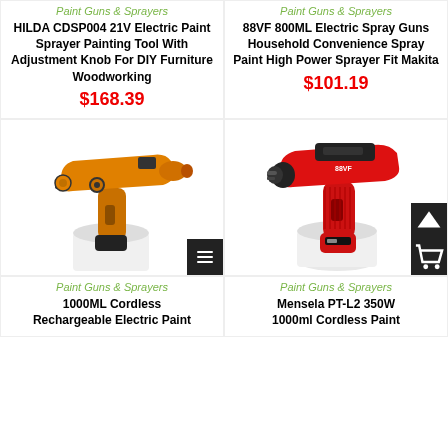Paint Guns & Sprayers
HILDA CDSP004 21V Electric Paint Sprayer Painting Tool With Adjustment Knob For DIY Furniture Woodworking
$168.39
[Figure (photo): Orange and black cordless electric paint sprayer gun with white container]
Paint Guns & Sprayers
88VF 800ML Electric Spray Guns Household Convenience Spray Paint High Power Sprayer Fit Makita
$101.19
[Figure (photo): Red and black cordless electric paint sprayer gun with white container]
Paint Guns & Sprayers
1000ML Cordless Rechargeable Electric Paint
Paint Guns & Sprayers
Mensela PT-L2 350W 1000ml Cordless Paint